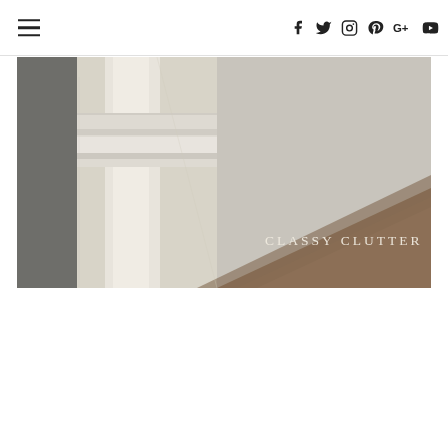Navigation and social icons bar
[Figure (photo): Close-up photo of white-painted wooden window frame or furniture trim, with warm brown overlay in bottom right corner. Text 'CLASSY CLUTTER' appears in serif letters over the brown section.]